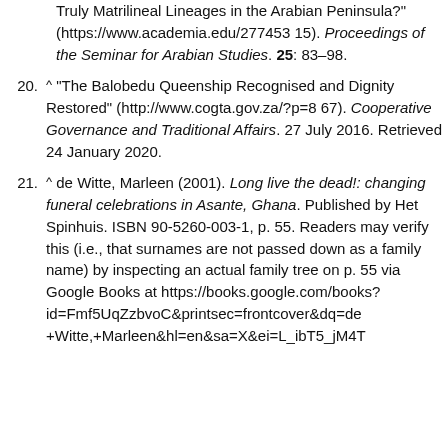(continuation) Truly Matrilineal Lineages in the Arabian Peninsula?" (https://www.academia.edu/27745315). Proceedings of the Seminar for Arabian Studies. 25: 83–98.
20. ^ "The Balobedu Queenship Recognised and Dignity Restored" (http://www.cogta.gov.za/?p=867). Cooperative Governance and Traditional Affairs. 27 July 2016. Retrieved 24 January 2020.
21. ^ de Witte, Marleen (2001). Long live the dead!: changing funeral celebrations in Asante, Ghana. Published by Het Spinhuis. ISBN 90-5260-003-1, p. 55. Readers may verify this (i.e., that surnames are not passed down as a family name) by inspecting an actual family tree on p. 55 via Google Books at https://books.google.com/books?id=Fmf5UqZzbvoC&printsec=frontcover&dq=de+Witte,+Marleen&hl=en&sa=X&ei=L_ibT5_jM4T